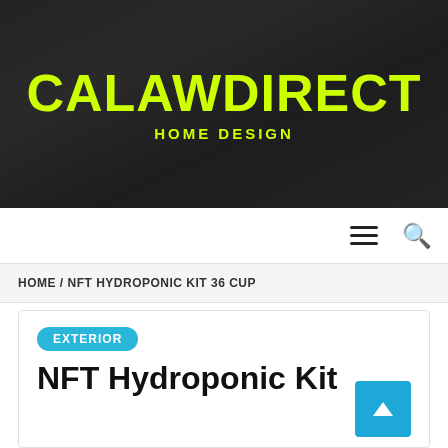[Figure (photo): Website header banner showing a carport/outdoor structure with dark overlay. Site title CALAWDIRECT in large yellow text and HOME DESIGN subtitle below.]
CALAWDIRECT
HOME DESIGN
HOME / NFT HYDROPONIC KIT 36 CUP
EXTERIOR
NFT Hydroponic Kit